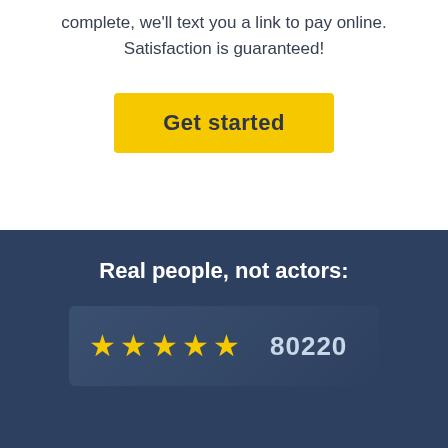complete, we'll text you a link to pay online. Satisfaction is guaranteed!
[Figure (other): Yellow 'Get started' call-to-action button]
Real people, not actors:
[Figure (other): Five yellow stars rating with review count 80220]